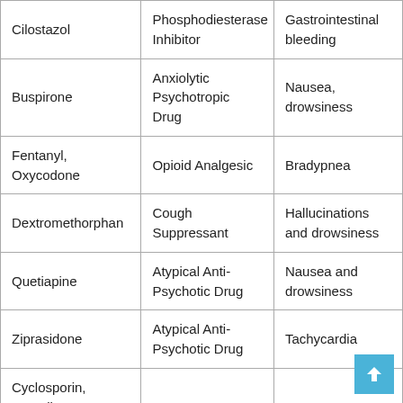| Cilostazol | Phosphodiesterase Inhibitor | Gastrointestinal bleeding |
| Buspirone | Anxiolytic Psychotropic Drug | Nausea, drowsiness |
| Fentanyl, Oxycodone | Opioid Analgesic | Bradypnea |
| Dextromethorphan | Cough Suppressant | Hallucinations and drowsiness |
| Quetiapine | Atypical Anti-Psychotic Drug | Nausea and drowsiness |
| Ziprasidone | Atypical Anti-Psychotic Drug | Tachycardia |
| Cyclosporin, Everolimus, Tacrolimus, Sirolimus | Immunosuppresant Drugs | Bone marrow damage |